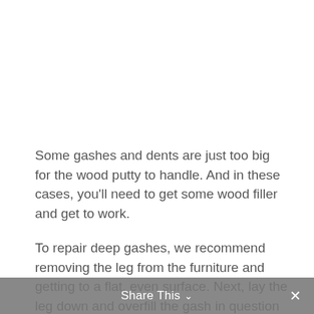Some gashes and dents are just too big for the wood putty to handle. And in these cases, you'll need to get some wood filler and get to work.
To repair deep gashes, we recommend removing the leg from the furniture and getting to a flat, even surface. Next, lay the leg down and overfill the gash in question with the wood filler.
Share This ∨  ✕